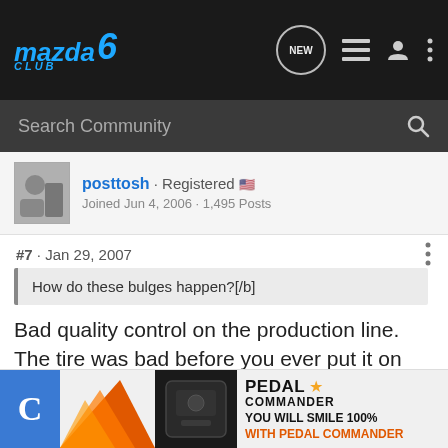[Figure (screenshot): Mazda 6 Club forum navigation bar with logo, NEW bubble, list icon, user icon, and three-dots menu]
Search Community
posttosh · Registered
Joined Jun 4, 2006 · 1,495 Posts
#7 · Jan 29, 2007
How do these bulges happen?[/b]
Bad quality control on the production line. The tire was bad before you ever put it on your wheel.
[Figure (advertisement): Pedal Commander ad: C icon, orange graphic, device photo, PEDAL COMMANDER brand, star, YOU WILL SMILE 100% WITH PEDAL COMMANDER]